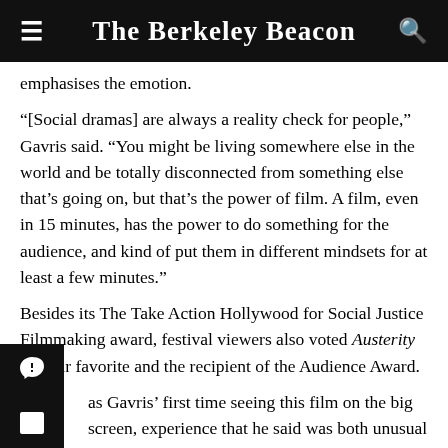The Berkeley Beacon
emphasises the emotion.
“[Social dramas] are always a reality check for people,” Gavris said. “You might be living somewhere else in the world and be totally disconnected from something else that’s going on, but that’s the power of film. A film, even in 15 minutes, has the power to do something for the audience, and kind of put them in different mindsets for at least a few minutes.”
Besides its The Take Action Hollywood for Social Justice Filmmaking award, festival viewers also voted Austerity as their favorite and the recipient of the Audience Award.
as Gavris’ first time seeing this film on the big screen, experience that he said was both unusual and unsettling. said he gets uncomfortable when people congratulate him because so many others were involved in the film